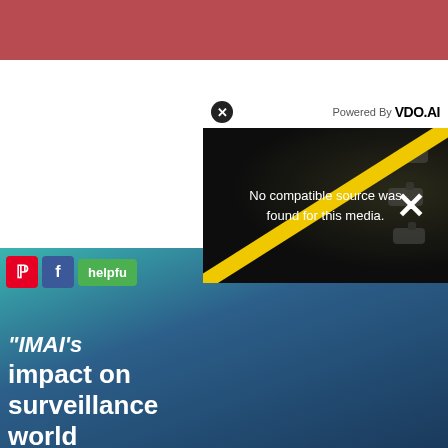[Figure (screenshot): Red banner at the top of a webpage]
[Figure (screenshot): VDO.AI video player overlay showing 'No compatible source was found for this media.' error message with a yellow diagonal line and X mark, overlaid on a dark surveillance camera background. Text on left shows "IMAI's impact on surveillance world"]
[Figure (screenshot): Social sharing bar with Pinterest, Facebook, helpful and non helpful buttons visible at bottom of page, with partial quote text 'YOU CAN TURN YOUR BACK ON A PERSON, BUT']